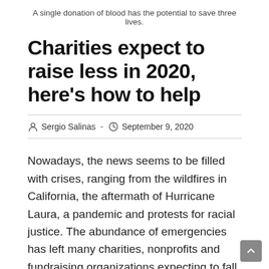A single donation of blood has the potential to save three lives.
Charities expect to raise less in 2020, here’s how to help
Sergio Salinas  -  September 9, 2020
Nowadays, the news seems to be filled with crises, ranging from the wildfires in California, the aftermath of Hurricane Laura, a pandemic and protests for racial justice. The abundance of emergencies has left many charities, nonprofits and fundraising organizations expecting to fall short of their fundraising goals for the year. If the organizations fall short, many will struggle to fulfill their setout missions. Luckily, there are plenty of